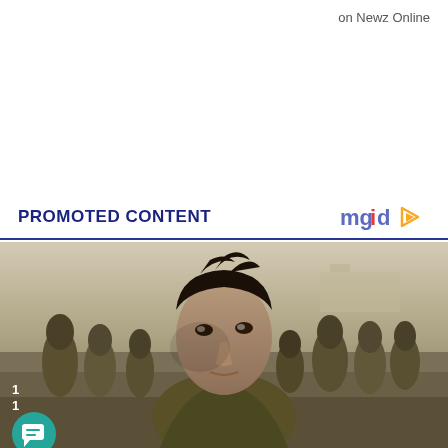on Newz Online
PROMOTED CONTENT
[Figure (photo): Movie still from Dunkirk showing a young soldier in the foreground looking up, with a crowd of soldiers in military uniforms on a beach in the background. Muted, desaturated color palette.]
1